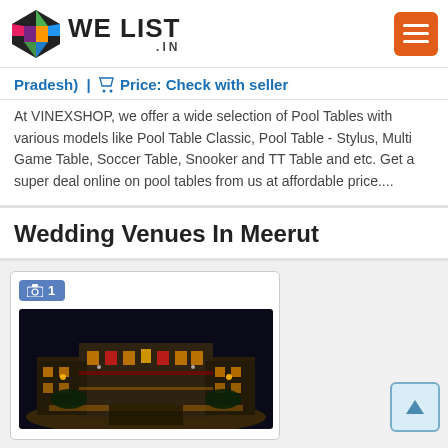WE LIST .IN
Pradesh) | Price: Check with seller
At VINEXSHOP, we offer a wide selection of Pool Tables with various models like Pool Table Classic, Pool Table - Stylus, Multi Game Table, Soccer Table, Snooker and TT Table and etc. Get a super deal online on pool tables from us at affordable price....
Wedding Venues In Meerut
[Figure (photo): Nighttime photo of a large illuminated wedding venue building in Meerut, shown in a listing card with a camera/photo badge showing '1']